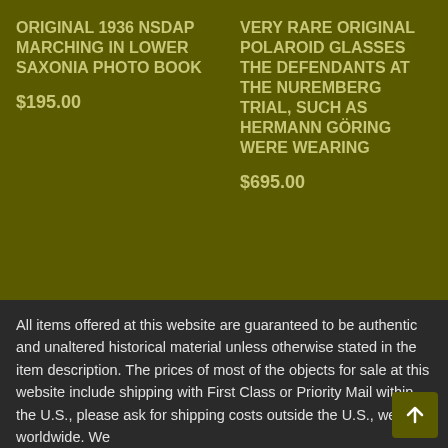ORIGINAL 1936 NSDAP MARCHING IN LOWER SAXONIA PHOTO BOOK
$195.00
VERY RARE ORIGINAL POLAROID GLASSES THE DEFENDANTS AT THE NUREMBERG TRIAL, SUCH AS HERMANN GÖRING WERE WEARING
$695.00
All items offered at this website are guaranteed to be authentic and unaltered historical material unless otherwise stated in the item description. The prices of most of the objects for sale at this website include shipping with First Class or Priority Mail within the U.S., please ask for shipping costs outside the U.S., we ship worldwide. We